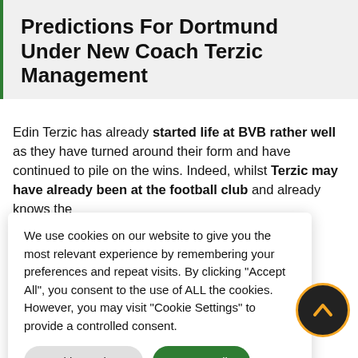Predictions For Dortmund Under New Coach Terzic Management
Edin Terzic has already started life at BVB rather well as they have turned around their form and have continued to pile on the wins. Indeed, whilst Terzic may have already been at the football club and already knows the [text obscured] est, getting the [text obscured] nge; however it [text obscured] lin Terzic is [text obscured] erman football [text obscured] ng how the likes [text obscured] e started the [text obscured] successful in [text obscured] s League with [text obscured]
We use cookies on our website to give you the most relevant experience by remembering your preferences and repeat visits. By clicking “Accept All”, you consent to the use of ALL the cookies. However, you may visit “Cookie Settings” to provide a controlled consent.
Cookie Settings  Accept All
games against SC Paderborn and Sevilla CF.